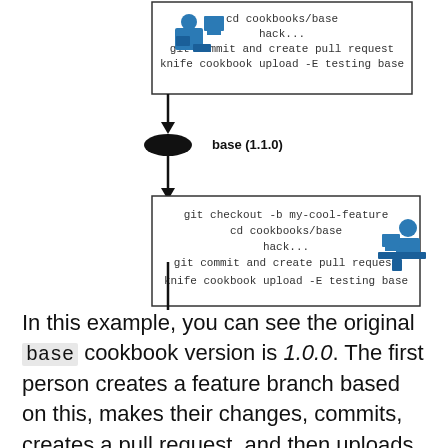[Figure (flowchart): A vertical flowchart showing two developer workflow steps. Each step has a code box (monospace) with git commands, connected by arrows and oval nodes labeled 'base (1.1.0)'. The first oval label is black text; the second oval label is red text. Developer icons appear beside the code boxes. Arrows point downward between elements.]
In this example, you can see the original base cookbook version is 1.0.0. The first person creates a feature branch based on this, makes their changes, commits, creates a pull request, and then uploads their